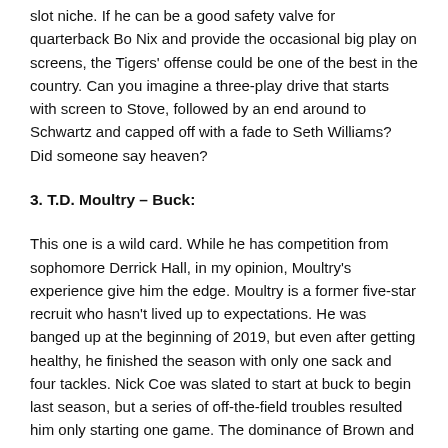slot niche. If he can be a good safety valve for quarterback Bo Nix and provide the occasional big play on screens, the Tigers' offense could be one of the best in the country. Can you imagine a three-play drive that starts with screen to Stove, followed by an end around to Schwartz and capped off with a fade to Seth Williams? Did someone say heaven?
3. T.D. Moultry – Buck:
This one is a wild card. While he has competition from sophomore Derrick Hall, in my opinion, Moultry's experience give him the edge. Moultry is a former five-star recruit who hasn't lived up to expectations. He was banged up at the beginning of 2019, but even after getting healthy, he finished the season with only one sack and four tackles. Nick Coe was slated to start at buck to begin last season, but a series of off-the-field troubles resulted him only starting one game. The dominance of Brown and Davidson concealed the glaring